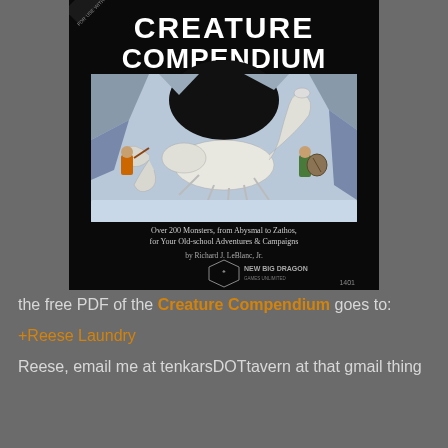[Figure (illustration): Book cover of 'Creature Compendium' by New Big Dragon Games Unlimited. Black background with large white title text. Cover illustration shows two adventurers fighting a giant white scorpion in a cave. Subtitle reads: Over 200 Monsters, from Abysmal to Zathos, for Your Old-school Adventures & Campaigns. Author: Richard J. LeBlanc, Jr. Product number 1401.]
the free PDF of the Creature Compendium goes to:
+Reese Laundry
Reese, email me at tenkarsDOTtavern at that gmail thing